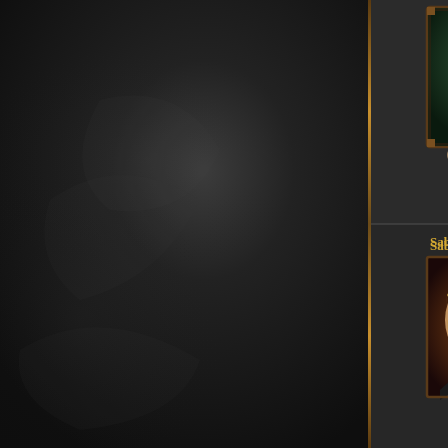[Figure (screenshot): Game UI screenshot showing character selection or achievement screen. Left portion shows dark stone/smoke textured background. Right portion shows game interface with character portraits and achievement icons. Top area shows a female character portrait with ornate frame and 'Fury of Nature' achievement with bronze medal icon. Bottom area shows 'Saboteur' character portrait of a male figure with fiery background and 'Pyromaniac' achievement with orange-robed figure medal icon. Right edge shows partially visible blue/purple text links.]